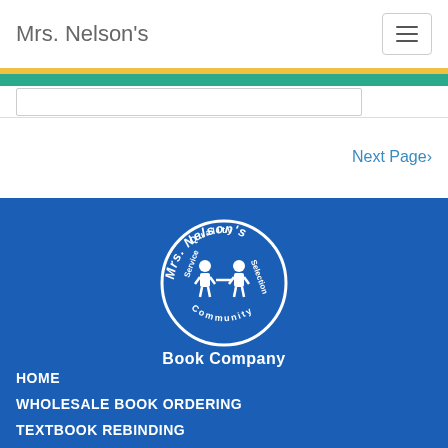Mrs. Nelson's
Next Page
[Figure (logo): Mrs. Nelson's Book Company circular logo with two cartoon children figures and text: Service, Quality, Selection, Community]
HOME
WHOLESALE BOOK ORDERING
TEXTBOOK REBINDING
READERBOUND EDITIONS
TEXTBOOK SALES & BUYBACK